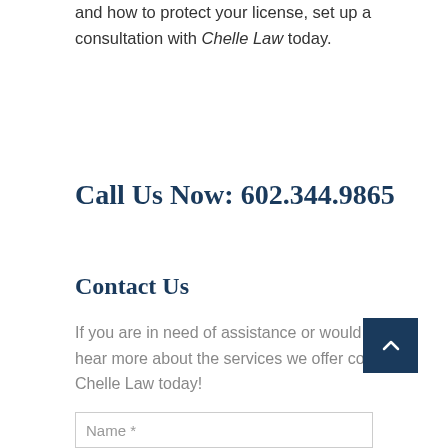and how to protect your license, set up a consultation with Chelle Law today.
Call Us Now: 602.344.9865
Contact Us
If you are in need of assistance or would like to hear more about the services we offer contact Chelle Law today!